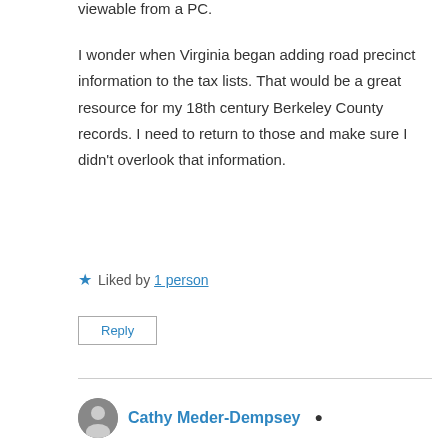viewable from a PC.
I wonder when Virginia began adding road precinct information to the tax lists. That would be a great resource for my 18th century Berkeley County records. I need to return to those and make sure I didn't overlook that information.
★ Liked by 1 person
Reply
Cathy Meder-Dempsey
March 15, 2021 at 9:25 am
When I checked on Gallia County, Ohio, tax lists I